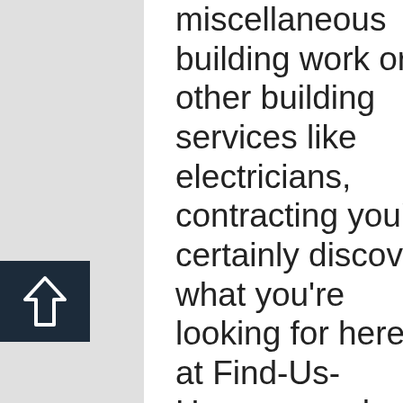miscellaneous building work or other building services like electricians, contracting you'll certainly discover what you're looking for here at Find-Us-Here.com, where suppliers can provide all sorts of construction and home improvement services. In fact, within the Building and
[Figure (other): Dark navy blue square button with a white upward-pointing arrow outline icon]